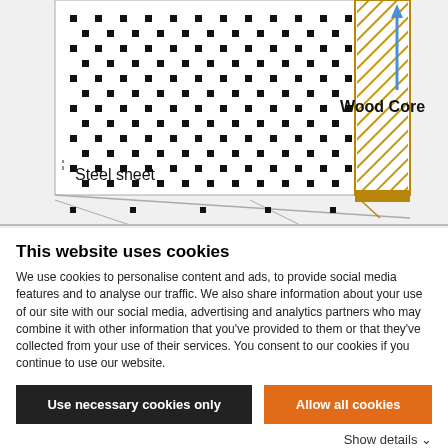[Figure (engineering-diagram): Cross-section engineering diagram of a composite panel showing a steel sheet layer and a wood core layer with diagonal hatching. A blue arrow points upward along the right edge of the wood core. Labels: 'Steel sheet' (left side, pointing to dotted pattern), 'Wood Core' (right side).]
This website uses cookies
We use cookies to personalise content and ads, to provide social media features and to analyse our traffic. We also share information about your use of our site with our social media, advertising and analytics partners who may combine it with other information that you've provided to them or that they've collected from your use of their services. You consent to our cookies if you continue to use our website.
Use necessary cookies only
Allow all cookies
Show details